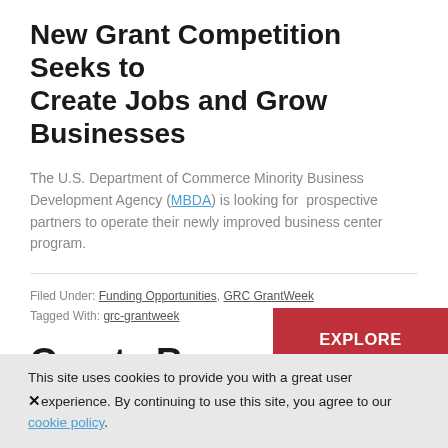New Grant Competition Seeks to Create Jobs and Grow Businesses
The U.S. Department of Commerce Minority Business Development Agency (MBDA) is looking for  prospective partners to operate their newly improved business center program.
Filed Under: Funding Opportunities, GRC GrantWeek
Tagged With: grc-grantweek
[Figure (other): Red button/banner reading EXPLORE OUR VISIT OPTIONS]
Grants Resource
This site uses cookies to provide you with a great user experience. By continuing to use this site, you agree to our cookie policy.